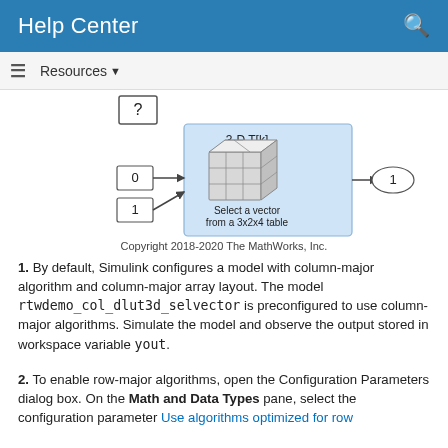Help Center
Resources ▼
[Figure (screenshot): Simulink block diagram showing a 3-D T[k] lookup table block labeled 'Select a vector from a 3x2x4 table', with inputs 0 and 1 and output 1, and a question mark block above.]
Copyright 2018-2020 The MathWorks, Inc.
1. By default, Simulink configures a model with column-major algorithm and column-major array layout. The model rtwdemo_col_dlut3d_selvector is preconfigured to use column-major algorithms. Simulate the model and observe the output stored in workspace variable yout.
2. To enable row-major algorithms, open the Configuration Parameters dialog box. On the Math and Data Types pane, select the configuration parameter Use algorithms optimized for row